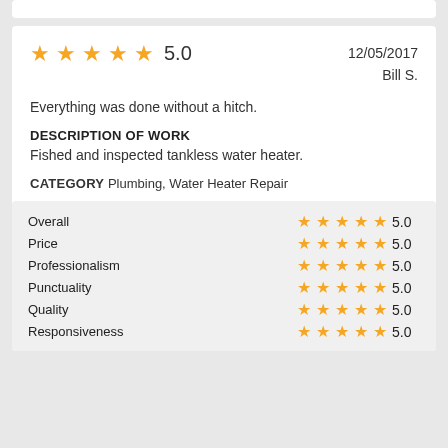★★★★★ 5.0   12/05/2017   Bill S.
Everything was done without a hitch.
DESCRIPTION OF WORK
Fished and inspected tankless water heater.
CATEGORY Plumbing, Water Heater Repair
| Category | Stars | Score |
| --- | --- | --- |
| Overall | ★★★★★ | 5.0 |
| Price | ★★★★★ | 5.0 |
| Professionalism | ★★★★★ | 5.0 |
| Punctuality | ★★★★★ | 5.0 |
| Quality | ★★★★★ | 5.0 |
| Responsiveness | ★★★★★ | 5.0 |